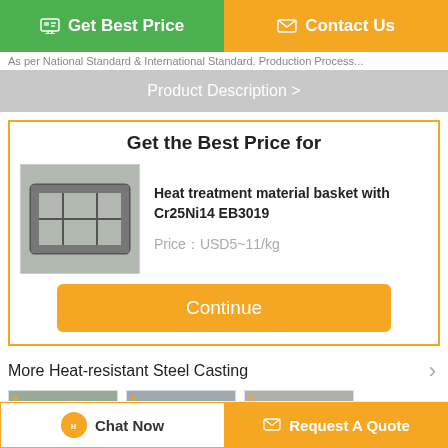[Figure (screenshot): Get Best Price button (green) and Contact Us button (orange) at the top]
As per National Standard & International Standard. Production Process...
Product Description >
Get the Best Price for
[Figure (photo): Heat treatment material basket with Cr25Ni14 EB3019 product image]
Heat treatment material basket with Cr25Ni14 EB3019
Price：USD5~11/kg
Continue
More  Heat-resistant Steel Casting
[Figure (photo): Three thumbnail product images of heat-resistant steel castings]
Chat Now
Request A Quote